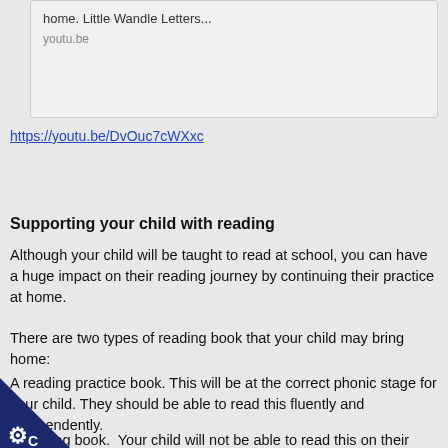[Figure (screenshot): Preview card showing 'home. Little Wandle Letters...' and 'youtu.be']
https://youtu.be/DvOuc7cWXxc
Supporting your child with reading
Although your child will be taught to read at school, you can have a huge impact on their reading journey by continuing their practice at home.
There are two types of reading book that your child may bring home:
A reading practice book. This will be at the correct phonic stage for your child. They should be able to read this fluently and independently.
A sharing book.  Your child will not be able to read this on their own. This book is for you both to read and enjoy together.